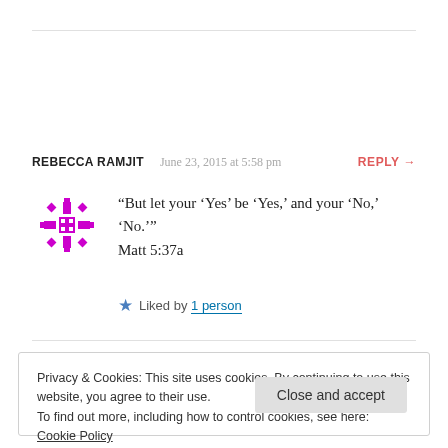REBECCA RAMJIT   June 23, 2015 at 5:58 pm   REPLY →
[Figure (logo): Magenta geometric/snowflake avatar icon for user Rebecca Ramjit]
“But let your ‘Yes’ be ‘Yes,’ and your ‘No,’ ‘No.’” Matt 5:37a
★ Liked by 1 person
Privacy & Cookies: This site uses cookies. By continuing to use this website, you agree to their use.
To find out more, including how to control cookies, see here: Cookie Policy
Close and accept